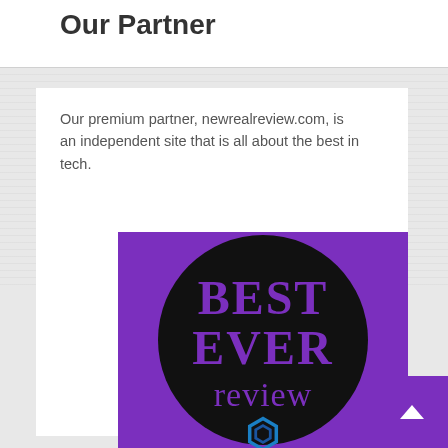Our Partner
Our premium partner, newrealreview.com, is an independent site that is all about the best in tech.
[Figure (logo): Best Ever Review logo — purple background with a large black circle containing the words 'BEST EVER review' in bold purple text and a blue hexagonal icon at the bottom.]